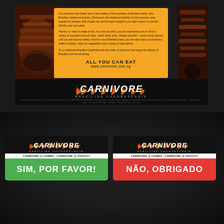[Figure (photo): Top half: Carnivore Brazilian Churrascaria restaurant menu card on dark surface. Card shows food photos on left and right edges, orange center panel with descriptive text about Brazilian churrascaria dining, 'ALL YOU CAN EAT' text and website www.carnivore.com.sg. Below is black section with Carnivore logo with flames and 'BRAZILIAN CHURRASCARIA' subtitle plus small contact/hours info.]
[Figure (photo): Bottom half: Two Carnivore Brazilian Churrascaria coasters/cards side by side on dark surface. Left card (green bottom): Carnivore logo with flames, 'CARNIVORE @ CHIMES · CARNIVORE @ VIVOCITY' text strip, green section with 'SIM, POR FAVOR!' text. Right card (red bottom): Same logo and location strip, red section with 'NÃO, OBRIGADO' text.]